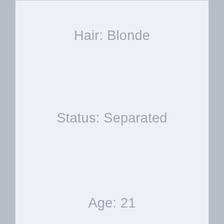Hair: Blonde
Status: Separated
Age: 21
Type: Athletic
City: Aurora, Illinois
[Figure (photo): Partial photo of a person with watermark text 'michaelkatzdesign.com' overlaid]